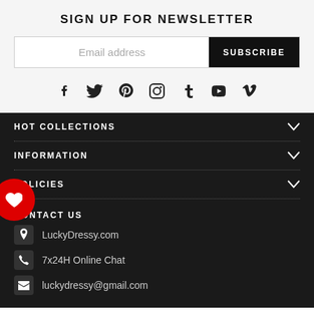SIGN UP FOR NEWSLETTER
Email address
SUBSCRIBE
[Figure (illustration): Social media icons: Facebook, Twitter, Pinterest, Instagram, Tumblr, YouTube, Vimeo]
HOT COLLECTIONS
INFORMATION
POLICIES
CONTACT US
LuckyDressy.com
7x24H Online Chat
luckydressy@gmail.com